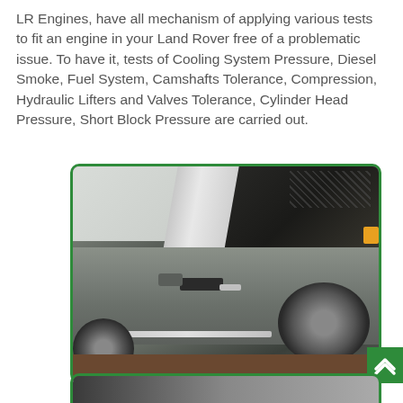LR Engines, have all mechanism of applying various tests to fit an engine in your Land Rover free of a problematic issue. To have it, tests of Cooling System Pressure, Diesel Smoke, Fuel System, Camshafts Tolerance, Compression, Hydraulic Lifters and Valves Tolerance, Cylinder Head Pressure, Short Block Pressure are carried out.
[Figure (photo): A grey Land Rover SUV with its hood open, showing the engine bay with cables and components visible. The vehicle is photographed from the side, showing the door, mirror, wheel, and step rail. A green border surrounds the image.]
[Figure (photo): Partial view of a second photo with a green border, partially cropped at the bottom of the page.]